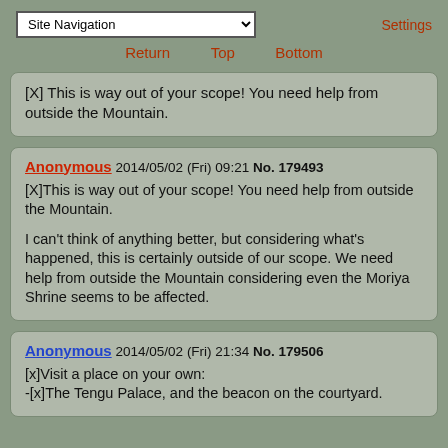Site Navigation | Settings | Return | Top | Bottom
[X] This is way out of your scope! You need help from outside the Mountain.
Anonymous 2014/05/02 (Fri) 09:21 No. 179493
[X]This is way out of your scope! You need help from outside the Mountain.

I can't think of anything better, but considering what's happened, this is certainly outside of our scope. We need help from outside the Mountain considering even the Moriya Shrine seems to be affected.
Anonymous 2014/05/02 (Fri) 21:34 No. 179506
[x]Visit a place on your own:
-[x]The Tengu Palace, and the beacon on the courtyard.